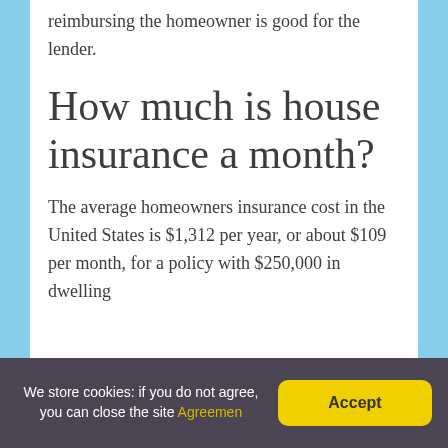reimbursing the homeowner is good for the lender.
How much is house insurance a month?
The average homeowners insurance cost in the United States is $1,312 per year, or about $109 per month, for a policy with $250,000 in dwelling